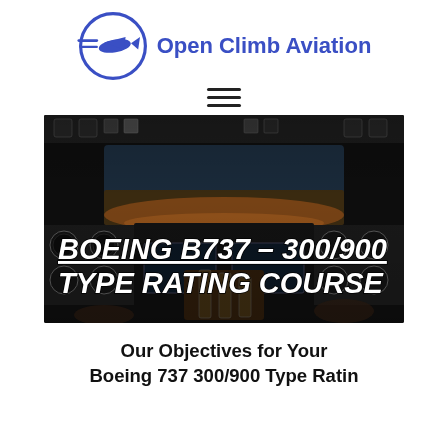[Figure (logo): Open Climb Aviation logo with blue circular airplane icon and blue text]
[Figure (photo): Boeing 737 cockpit flight simulator photo with overlay text: BOEING B737 – 300/900 TYPE RATING COURSE]
Our Objectives for Your Boeing 737 300/900 Type Ratin